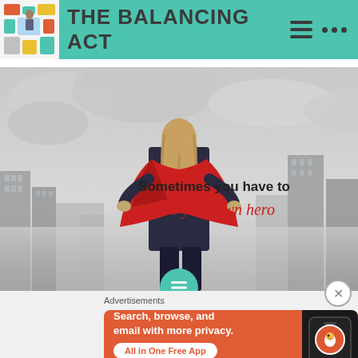THE BALANCING ACT
[Figure (photo): Woman in business suit with red superhero cape standing on rooftop overlooking misty city skyline. Text overlay: 'Sometimes you have to be your own hero']
Advertisements
[Figure (other): DuckDuckGo advertisement banner: 'Search, browse, and email with more privacy. All in One Free App' with phone showing DuckDuckGo logo on orange background]